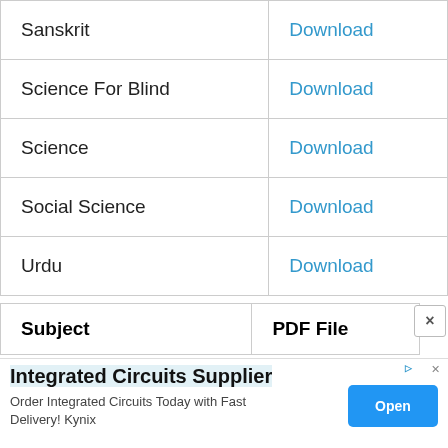| Sanskrit | Download |
| Science For Blind | Download |
| Science | Download |
| Social Science | Download |
| Urdu | Download |
| Subject | PDF File |
| --- | --- |
Integrated Circuits Supplier
Order Integrated Circuits Today with Fast Delivery! Kynix